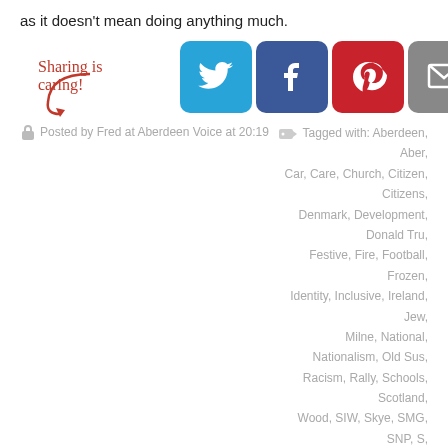as it doesn't mean doing anything much.
[Figure (infographic): Sharing is caring! social share buttons for Twitter, Facebook, Pinterest, Email, and a share/refresh icon]
Posted by Fred at Aberdeen Voice at 20:19
Tagged with: Aberdeen, Aber, Car, Care, Church, Citizen, Citizens, Denmark, Development, Donald Tru, Festive, Fire, Football, Frozen, Identity, Inclusive, Ireland, Jew, Milne, National, Nationalism, Old Sus, Racism, Rally, Schools, Scotland, Wood, SIW, Skye, SMG, SNP, S, Kelly, Terrace, Theft, Trade, Trump, U
Back From The Brink – Alistair Da
Articles, Community, Creative Writing, Information, Opinion